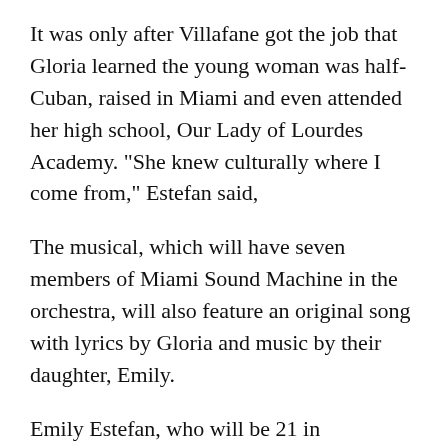It was only after Villafane got the job that Gloria learned the young woman was half-Cuban, raised in Miami and even attended her high school, Our Lady of Lourdes Academy. "She knew culturally where I come from," Estefan said,
The musical, which will have seven members of Miami Sound Machine in the orchestra, will also feature an original song with lyrics by Gloria and music by their daughter, Emily.
Emily Estefan, who will be 21 in December, is a dead-ringer for her mom and attends the Berklee College of Music. She recently surprised her parents with news that she had quietly written and recorded an album in her Boston apartment. "I'm in awe of her," said her proud mother.